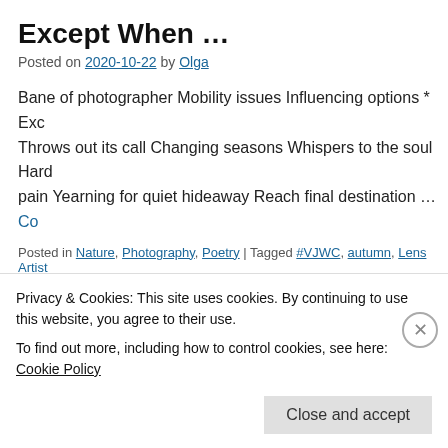Except When …
Posted on 2020-10-22 by Olga
Bane of photographer Mobility issues Influencing options * Exc… Throws out its call Changing seasons Whispers to the soul Hard… pain Yearning for quiet hideaway Reach final destination … Co…
Posted in Nature, Photography, Poetry | Tagged #VJWC, autumn, Lens Artist… photography, Poetry | 29 Comments
What a sight!
Posted on 2020-08-22 by Olga
Here he comes A sudden stop Mid-descent Just enough To frez…
Privacy & Cookies: This site uses cookies. By continuing to use this website, you agree to their use.
To find out more, including how to control cookies, see here: Cookie Policy